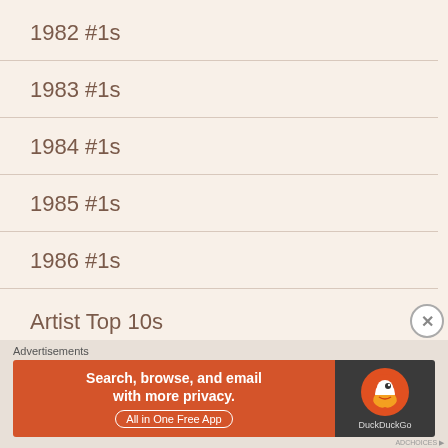1982 #1s
1983 #1s
1984 #1s
1985 #1s
1986 #1s
Artist Top 10s
Ballads
Advertisements
[Figure (screenshot): DuckDuckGo advertisement banner: orange left panel reading 'Search, browse, and email with more privacy. All in One Free App', dark right panel with DuckDuckGo logo]